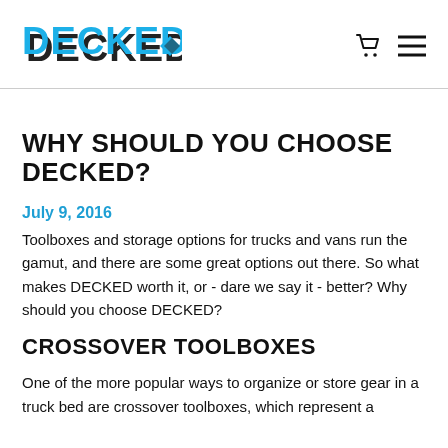DECKED [logo] [cart icon] [menu icon]
WHY SHOULD YOU CHOOSE DECKED?
July 9, 2016
Toolboxes and storage options for trucks and vans run the gamut, and there are some great options out there. So what makes DECKED worth it, or - dare we say it - better? Why should you choose DECKED?
CROSSOVER TOOLBOXES
One of the more popular ways to organize or store gear in a truck bed are crossover toolboxes, which represent a